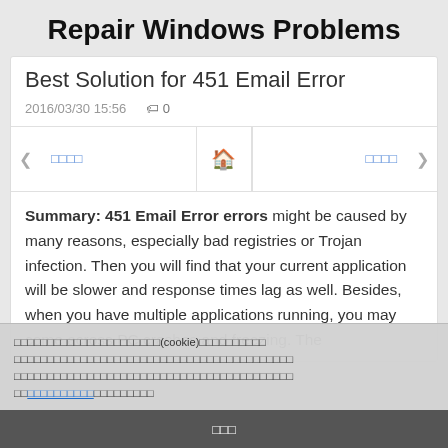Repair Windows Problems
Best Solution for 451 Email Error
2016/03/30 15:56   🏷 0
◀ □□□□   🏠   □□□□ ▶
Summary: 451 Email Error errors might be caused by many reasons, especially bad registries or Trojan infection. Then you will find that your current application will be slower and response times lag as well. Besides, when you have multiple applications running, you may come across PC crashes and freezing. The
□□□□□□□□□□□□□□□□□□□□□□(cookie)□□□□□□□□□□□□□□□□□□□□□□□□□□□□□□□□□□□□□□□□□□□□□□□□□□□□□□□□□□□□□□□□□□□□□□□□□□□□□□□□□□□□□□□□□□□□□□□□□□□□□□□□□□□□□□